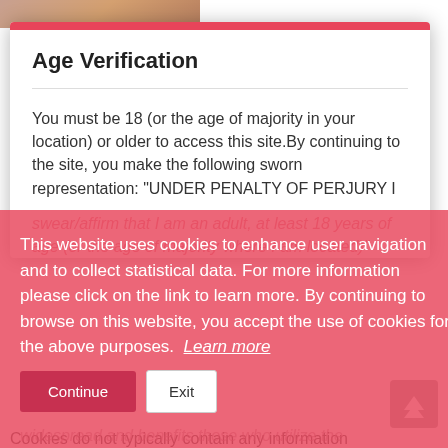Age Verification
You must be 18 (or the age of majority in your location) or older to access this site.By continuing to the site, you make the following sworn representation: "UNDER PENALTY OF PERJURY I swear/affirm that I am an adult, at least 18 years of age (or the age of majority where I am located)"
This website uses cookies to enhance user navigation and to collect statistical data. For more information please click on the link to learn more. By continuing to browse on this website, you accept the use of cookies for the above purposes.  Learn more
I Understand
Cookies do not typically contain any information